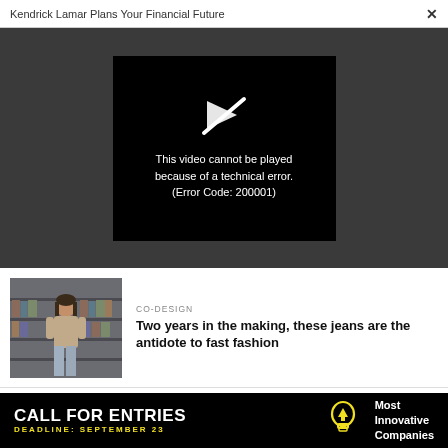Kendrick Lamar Plans Your Financial Future  ×
[Figure (screenshot): Video player showing error message: 'This video cannot be played because of a technical error. (Error Code: 200001)' with a broken video icon on black background, set within a dark gray player area.]
[Figure (photo): Photo of a young woman standing in front of shelves with files/books, wearing a beige turtleneck and jeans.]
CO-DESIGN
Two years in the making, these jeans are the antidote to fast fashion
[Figure (infographic): Black advertisement banner reading 'CALL FOR ENTRIES / DEADLINE: SEPTEMBER 23' with a lightbulb icon and text 'Most Innovative Companies']